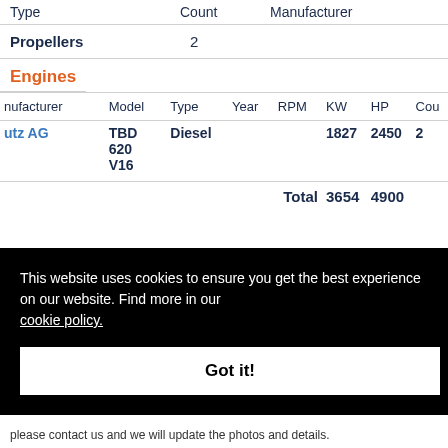| Type | Count | Manufacturer |
| --- | --- | --- |
| Propellers | 2 |  |
Engines
| nufacturer | Model | Type | Year | RPM | KW | HP | Cou |
| --- | --- | --- | --- | --- | --- | --- | --- |
| utz AG | TBD 620 V16 | Diesel |  |  | 1827 | 2450 | 2 |
|  |  |  |  | Total | 3654 | 4900 |  |
This website uses cookies to ensure you get the best experience on our website. Find more in our cookie policy.
Got it!
please contact us and we will update the photos and details.